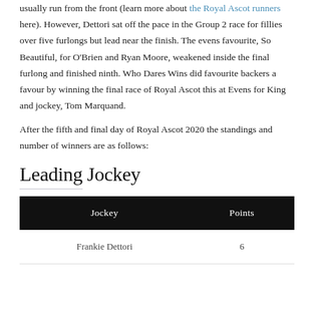usually run from the front (learn more about the Royal Ascot runners here). However, Dettori sat off the pace in the Group 2 race for fillies over five furlongs but lead near the finish. The evens favourite, So Beautiful, for O'Brien and Ryan Moore, weakened inside the final furlong and finished ninth. Who Dares Wins did favourite backers a favour by winning the final race of Royal Ascot this at Evens for King and jockey, Tom Marquand.
After the fifth and final day of Royal Ascot 2020 the standings and number of winners are as follows:
Leading Jockey
| Jockey | Points |
| --- | --- |
| Frankie Dettori | 6 |